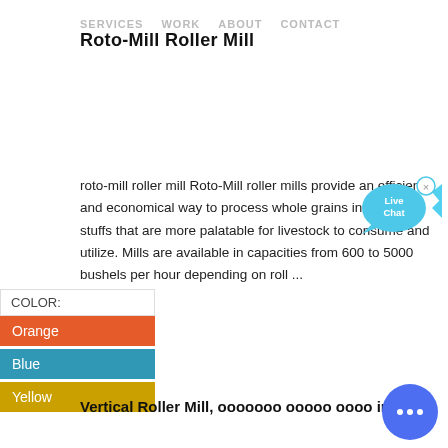SERVICES   WORK   ABOUT   CONTACT
Roto-Mill Roller Mill
roto-mill roller mill Roto-Mill roller mills provide an efficient and economical way to process whole grains into feed stuffs that are more palatable for livestock to consume and utilize. Mills are available in capacities from 600 to 5000 bushels per hour depending on roll ...
COLOR:
Orange
Blue
Yellow
[Figure (illustration): Live Chat bubble icon with fish shape in cyan/blue color with X close button]
Vertical Roller Mill, ооооооо ооооо оооо in ...
[Figure (illustration): Blue circular chat button with three dots]